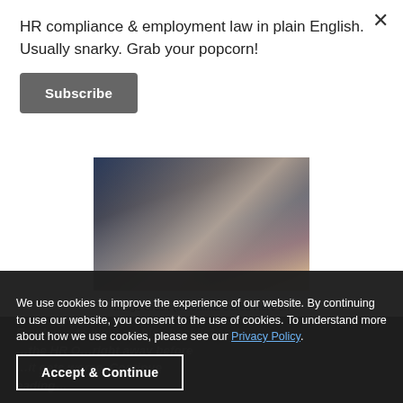HR compliance & employment law in plain English. Usually snarky. Grab your popcorn!
Subscribe
[Figure (photo): Photo of a person in a car, dark background with car window visible]
Image Credit (Insomnia Cured Here on Flickr) //embedr.flickr.com/assets/client-code.js
We use cookies to improve the experience of our website. By continuing to use our website, you consent to the use of cookies. To understand more about how we use cookies, please see our Privacy Policy.
Accept & Continue